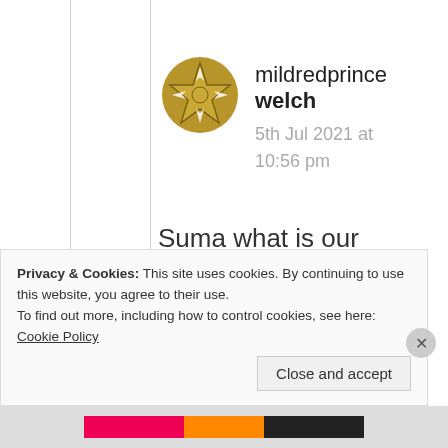[Figure (illustration): Gold star/compass badge avatar icon for user mildredprincelwch]
mildredprince welch
5th Jul 2021 at 10:56 pm
Suma what is our enemy Marlapaige=she was the trouble maker who influence Killa to war against us
Privacy & Cookies: This site uses cookies. By continuing to use this website, you agree to their use.
To find out more, including how to control cookies, see here: Cookie Policy
Close and accept